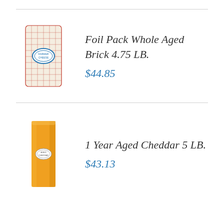[Figure (photo): Foil-wrapped whole aged brick cheese, approximately 4.75 lb, rectangular block with red patterned foil wrapping and a blue oval label]
Foil Pack Whole Aged Brick 4.75 LB.
$44.85
[Figure (photo): Orange block of 1 year aged cheddar cheese, approximately 5 lb, tall rectangular block with a small oval label]
1 Year Aged Cheddar 5 LB.
$43.13